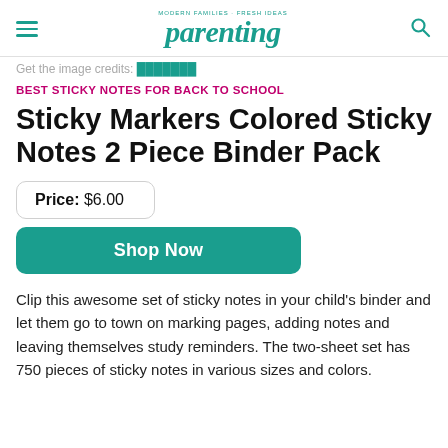parenting (MODERN FAMILIES · FRESH IDEAS)
Get the image credits: [link]
BEST STICKY NOTES FOR BACK TO SCHOOL
Sticky Markers Colored Sticky Notes 2 Piece Binder Pack
Price:  $6.00
Shop Now
Clip this awesome set of sticky notes in your child's binder and let them go to town on marking pages, adding notes and leaving themselves study reminders. The two-sheet set has 750 pieces of sticky notes in various sizes and colors.